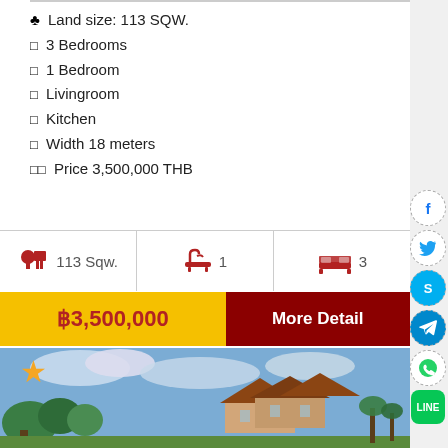♣ Land size: 113 SQW.
□ 3 Bedrooms
□ 1 Bedroom
□ Livingroom
□ Kitchen
□ Width 18 meters
□□ Price 3,500,000 THB
113 Sqw.   1   3
฿3,500,000   More Detail
[Figure (photo): Thai-style house with traditional pointed roof architecture surrounded by tropical trees and gardens with blue sky]